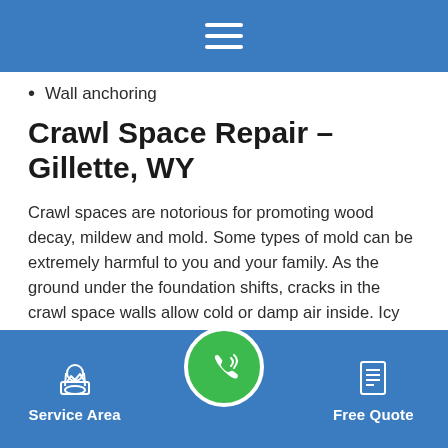Navigation menu (hamburger icon)
Wall anchoring
Crawl Space Repair – Gillette, WY
Crawl spaces are notorious for promoting wood decay, mildew and mold. Some types of mold can be extremely harmful to you and your family. As the ground under the foundation shifts, cracks in the crawl space walls allow cold or damp air inside. Icy air causes the floors to be colder, which results in higher energy bills during the winter. Our experienced professionals remedy problems with our CleanSpace System, which offers the following benefits:
Service Area | [Call button] | Free Quote